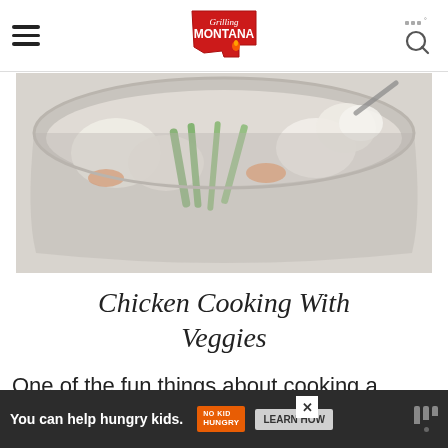Grilling Montana — navigation header with hamburger menu and search icon
[Figure (photo): A large pot containing chicken and mixed vegetables including green onions, carrots, and cauliflower, viewed from above with a light, washed-out color tone.]
Chicken Cooking With Veggies
One of the fun things about cooking a w[hole] ... -cost
[Figure (infographic): Advertisement banner: 'You can help hungry kids. NO KID HUNGRY. LEARN HOW']